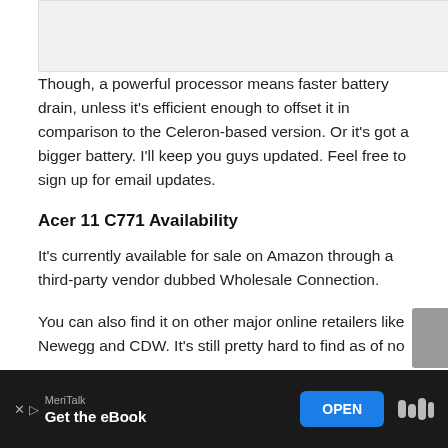[Figure (photo): Partial image at top of page, appears to be a laptop or device photo, mostly cropped out]
Though, a powerful processor means faster battery drain, unless it’s efficient enough to offset it in comparison to the Celeron-based version. Or it’s got a bigger battery. I’ll keep you guys updated. Feel free to sign up for email updates.
Acer 11 C771 Availability
It’s currently available for sale on Amazon through a third-party vendor dubbed Wholesale Connection.
You can also find it on other major online retailers like Newegg and CDW. It’s still pretty hard to find as of no... product